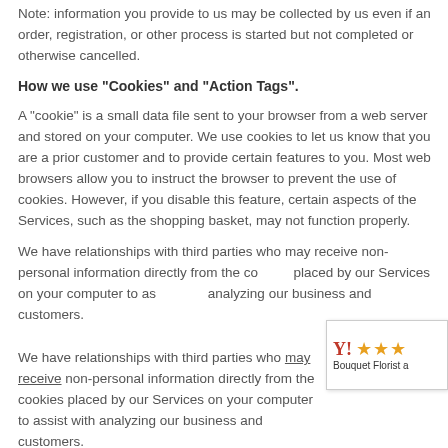Note: information you provide to us may be collected by us even if an order, registration, or other process is started but not completed or otherwise cancelled.
How we use "Cookies" and "Action Tags".
A "cookie" is a small data file sent to your browser from a web server and stored on your computer. We use cookies to let us know that you are a prior customer and to provide certain features to you. Most web browsers allow you to instruct the browser to prevent the use of cookies. However, if you disable this feature, certain aspects of the Services, such as the shopping basket, may not function properly.
We have relationships with third parties who may receive non-personal information directly from the cookies placed by our Services on your computer to assist with analyzing our business and customers.
[Figure (other): Bouquet Florist rating widget with logo Y! and three orange stars, labeled 'Bouquet Florist a']